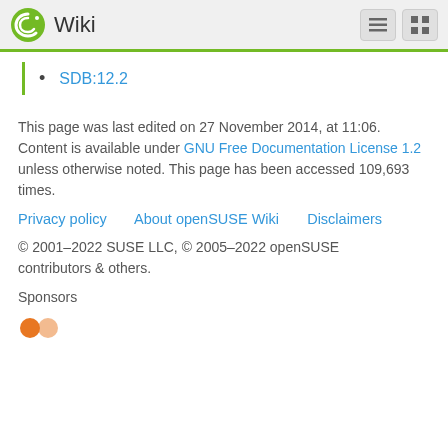Wiki
SDB:12.2
This page was last edited on 27 November 2014, at 11:06. Content is available under GNU Free Documentation License 1.2 unless otherwise noted. This page has been accessed 109,693 times.
Privacy policy    About openSUSE Wiki    Disclaimers
© 2001–2022 SUSE LLC, © 2005–2022 openSUSE contributors & others.
Sponsors